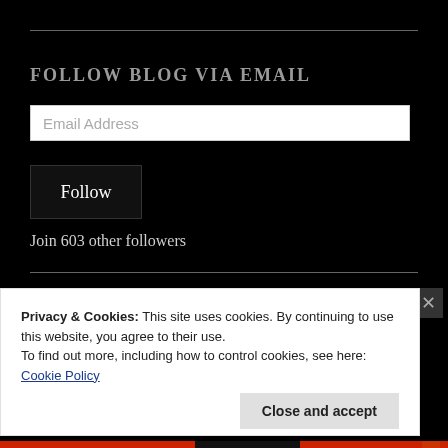FOLLOW BLOG VIA EMAIL
Email Address
Follow
Join 603 other followers
Privacy & Cookies: This site uses cookies. By continuing to use this website, you agree to their use.
To find out more, including how to control cookies, see here: Cookie Policy
Close and accept